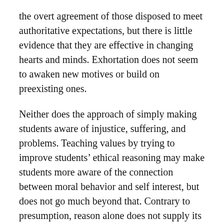the overt agreement of those disposed to meet authoritative expectations, but there is little evidence that they are effective in changing hearts and minds. Exhortation does not seem to awaken new motives or build on preexisting ones.
Neither does the approach of simply making students aware of injustice, suffering, and problems. Teaching values by trying to improve students’ ethical reasoning may make students more aware of the connection between moral behavior and self interest, but does not go much beyond that. Contrary to presumption, reason alone does not supply its own volitional force. As Jonathan Haidt points out, “Trying to make children behave ethically by teaching them to reason well is like trying to make a dog happy by wagging its tail. It gets causality backwards.”